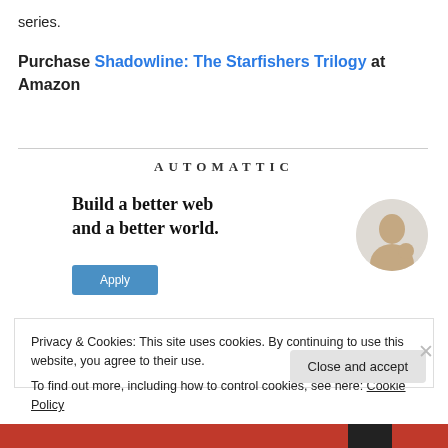series.
Purchase Shadowline: The Starfishers Trilogy at Amazon
[Figure (screenshot): Automattic advertisement banner showing 'Build a better web and a better world.' with an Apply button and a photo of a person thinking]
Privacy & Cookies: This site uses cookies. By continuing to use this website, you agree to their use.
To find out more, including how to control cookies, see here: Cookie Policy
Close and accept